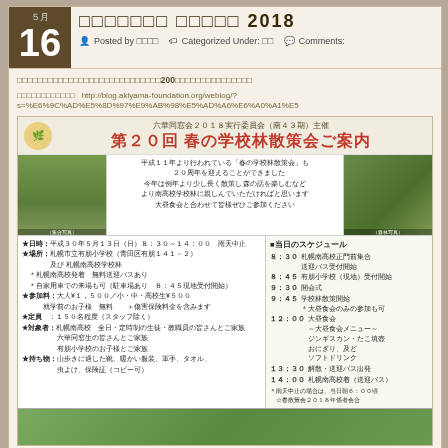5月 16 ／ ＯＯＯ ／ Posted by OOOO ／ Categorized Under: OO ／ Comments: 2018
□□□□□□□ □□□□□ 2018
□□□□□□□□□□□□□□□□□□□□□□□□□□□□200□□□□□□□□□□□□□□□
□□□□□□□□□□□□　http://blog.akiyama-foundation.org/weblog/?s=%E6%9C%AD%E5%8D%97%E9%AB%98%E5%AD%A6%E6%A0%A1%E5
[Figure (infographic): Flyer for 第２０回 春の学校林散策会ご案内 by 六華同窓会２０１８実行委員会（南４３期）主催. Contains text about the 20th anniversary forest walk event, photos of participants in a forest setting, and detailed schedule and information.]
★日時：平成３０年５月１３日（日）８：３０～１４：００　雨天中止
★場所：札幌市立有朋小学校（青田区有朋１４１－２）及び 札幌南高校学校林
　＊札幌南高校発着　無料送迎バスあり
　＊自家用車での来場も可（駐車場あり　８：４５現地受付開始）
★参加料：大人¥１，５００／小・中・高校生¥５００
　　　就学前のお子様　無料　　＋傷害保険料金を含みます
★定員　：１５０名程度（スタッフ除く）
★対象者：札幌南高校　全日・定時制の生徒・教職員の皆さんとご家族
　　　　　六華同窓生の皆さんとご家族
　　　　　有朋小学校のお子様とご家族
★持ち物：山歩きに適した靴、暖かい服装、軍手、タオル、
　　　　　虫よけ、保険証（コピー可）
■当日のスケジュール
８：３０　札幌南高校正門前集合
　　　　　送迎バス受付開始
８：４５　有朋小学校（現地）受付開始
９：３０　開会式
９：４５　学校林散策開始
　　　　　＊大昼食会のみの参加も可
１２：００　大昼食会
　　　　　～大昼食会メニュー～
　　　　　ジンギスカン・たこ填壺
　　　　　おにぎり、及ど
　　　　　ソフトドリンク
１３：３０　解散・送迎バス出発
１４：００　札幌南高校着　（送迎バス）
＊雨天中止の場合は、当日朝６：００頃
　☆春散策会２０１８年係者会合